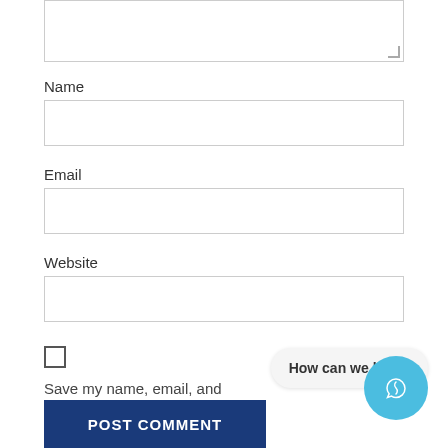[Figure (screenshot): Textarea input box at the top of the page, partially visible]
Name
[Figure (screenshot): Name text input field]
Email
[Figure (screenshot): Email text input field]
Website
[Figure (screenshot): Website text input field]
Save my name, email, and website in this browser for the next time I comment.
[Figure (screenshot): How can we help? chat bubble tooltip]
[Figure (screenshot): Blue circular chat button with refresh/chat icon]
POST COMMENT